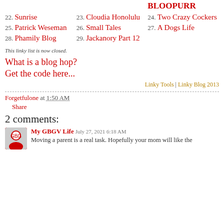BLOOPURR
22. Sunrise
23. Cloudia Honolulu
24. Two Crazy Cockers
25. Patrick Weseman
26. Small Tales
27. A Dogs Life
28. Phamily Blog
29. Jackanory Part 12
This linky list is now closed.
What is a blog hop?
Get the code here...
Linky Tools | Linky Blog 2013
Forgetfulone at 1:50 AM
Share
2 comments:
My GBGV Life  July 27, 2021 6:18 AM
Moving a parent is a real task. Hopefully your mom will like the